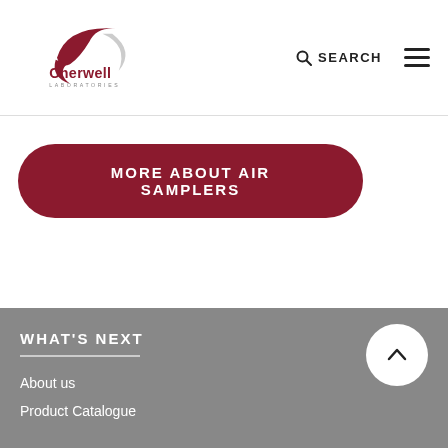[Figure (logo): Cherwell Laboratories logo with stylized red and grey swoosh mark above red 'Cherwell' wordmark and grey 'LABORATORIES' text]
SEARCH
MORE ABOUT AIR SAMPLERS
WHAT'S NEXT
About us
Product Catalogue